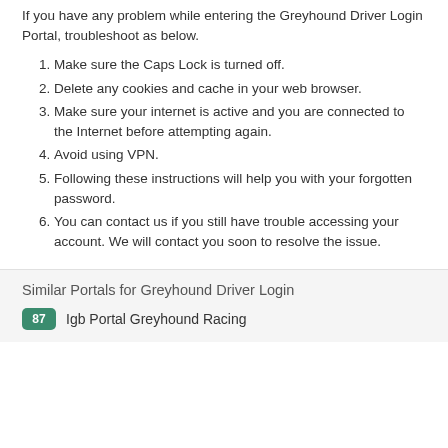If you have any problem while entering the Greyhound Driver Login Portal, troubleshoot as below.
Make sure the Caps Lock is turned off.
Delete any cookies and cache in your web browser.
Make sure your internet is active and you are connected to the Internet before attempting again.
Avoid using VPN.
Following these instructions will help you with your forgotten password.
You can contact us if you still have trouble accessing your account. We will contact you soon to resolve the issue.
Similar Portals for Greyhound Driver Login
87  Igb Portal Greyhound Racing